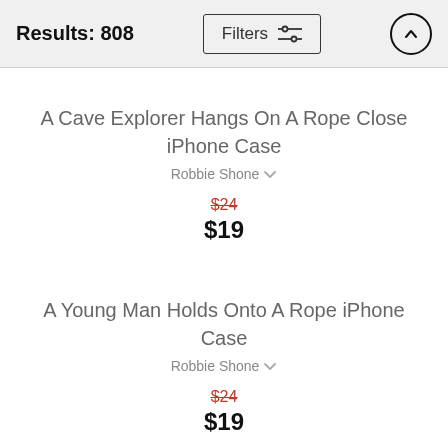Results: 808
A Cave Explorer Hangs On A Rope Close iPhone Case
Robbie Shone
$24 $19
A Young Man Holds Onto A Rope iPhone Case
Robbie Shone
$24 $19